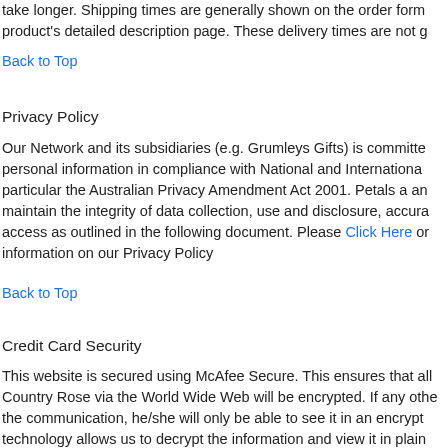take longer. Shipping times are generally shown on the order form product's detailed description page. These delivery times are not g
Back to Top
Privacy Policy
Our Network and its subsidiaries (e.g. Grumleys Gifts) is committed personal information in compliance with National and International particular the Australian Privacy Amendment Act 2001. Petals a and maintain the integrity of data collection, use and disclosure, accura access as outlined in the following document. Please Click Here or information on our Privacy Policy
Back to Top
Credit Card Security
This website is secured using McAfee Secure. This ensures that all Country Rose via the World Wide Web will be encrypted. If any othe the communication, he/she will only be able to see it in an encrypt technology allows us to decrypt the information and view it in plain